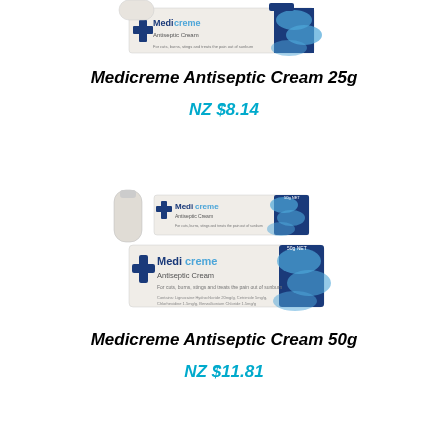[Figure (photo): Medicreme Antiseptic Cream 25g product tube and box, cropped at top]
Medicreme Antiseptic Cream 25g
NZ $8.14
[Figure (photo): Medicreme Antiseptic Cream 50g product tube and box]
Medicreme Antiseptic Cream 50g
NZ $11.81